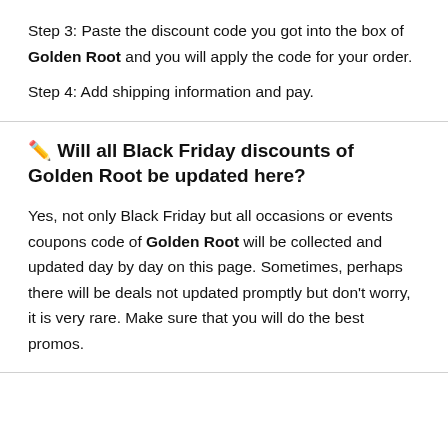Step 3: Paste the discount code you got into the box of Golden Root and you will apply the code for your order.
Step 4: Add shipping information and pay.
✏️ Will all Black Friday discounts of Golden Root be updated here?
Yes, not only Black Friday but all occasions or events coupons code of Golden Root will be collected and updated day by day on this page. Sometimes, perhaps there will be deals not updated promptly but don't worry, it is very rare. Make sure that you will do the best promos.